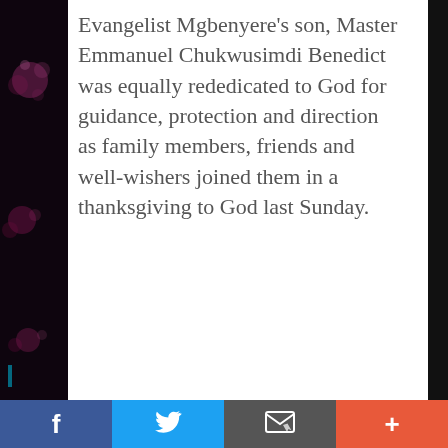Evangelist Mgbenyere’s son, Master Emmanuel Chukwusimdi Benedict was equally rededicated to God for guidance, protection and direction as family members, friends and well-wishers joined them in a thanksgiving to God last Sunday.
[Figure (photo): Dark background panel on left side with pink/magenta bokeh light circles, visible on left edge of page]
Facebook | Twitter | Email | More (social sharing bar)